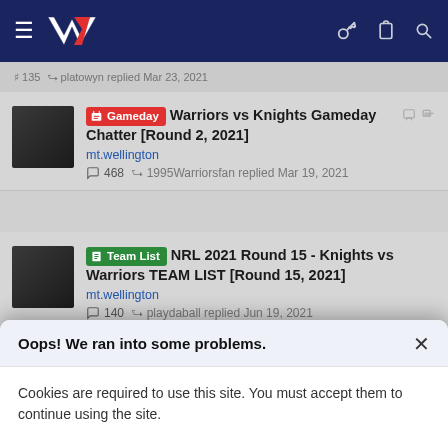Warriors NZ forum navigation bar with logo and icons
135 · platowyn replied Mar 23, 2021
[Gameday] Warriors vs Knights Gameday Chatter [Round 2, 2021] — mt.wellington — 468 · 1995Warriorsfan replied Mar 19, 2021
[Team List] NRL 2021 Round 15 - Knights vs Warriors TEAM LIST [Round 15, 2021] — mt.wellington — 140 · playdaball replied Jun 19, 2021
[Team List] NRL 2021 Round 11 - Warriors vs ...
Oops! We ran into some problems.
Cookies are required to use this site. You must accept them to continue using the site.